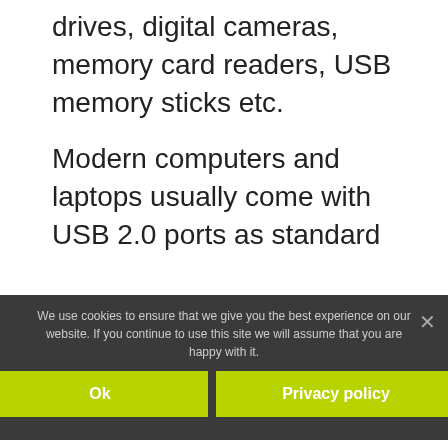drives, digital cameras, memory card readers, USB memory sticks etc.
Modern computers and laptops usually come with USB 2.0 ports as standard
Whilst much older computers only have the older technology USB 1.0
USB1.0 vs USB2.0 Performance
We use cookies to ensure that we give you the best experience on our website. If you continue to use this site we will assume that you are happy with it.
Ok
Privacy policy
USB1.0 vs USB2.0